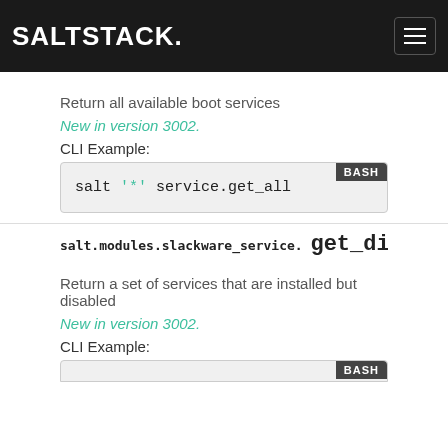SALTSTACK.
Return all available boot services
New in version 3002.
CLI Example:
[Figure (screenshot): Code block with bash label showing: salt '*' service.get_all]
salt.modules.slackware_service. get_disabled
Return a set of services that are installed but disabled
New in version 3002.
CLI Example:
[Figure (screenshot): Partial code block with BASH label, content cut off at bottom of page]